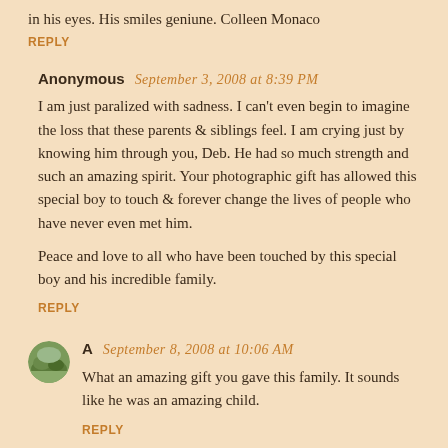in his eyes. His smiles geniune. Colleen Monaco
REPLY
Anonymous  September 3, 2008 at 8:39 PM
I am just paralized with sadness. I can't even begin to imagine the loss that these parents & siblings feel. I am crying just by knowing him through you, Deb. He had so much strength and such an amazing spirit. Your photographic gift has allowed this special boy to touch & forever change the lives of people who have never even met him.

Peace and love to all who have been touched by this special boy and his incredible family.
REPLY
[Figure (photo): Small circular avatar showing a nature/landscape photo with green foliage]
A  September 8, 2008 at 10:06 AM
What an amazing gift you gave this family. It sounds like he was an amazing child.
REPLY